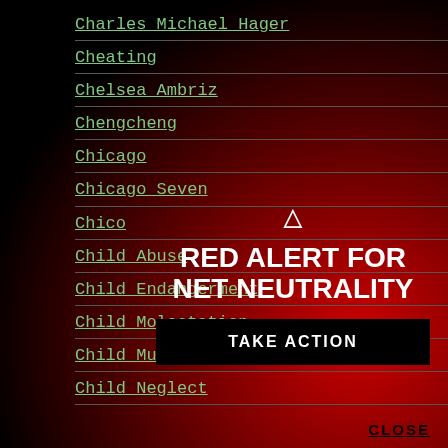Charles Michael Hager
Cheating
Chelsea Ambriz
Chengcheng
Chicago
Chicago Seven
Chico
Child Abuse
Child Endangerment
Child Molestation
Child Murder
Child Neglect
[Figure (infographic): Red Alert for Net Neutrality overlay with warning triangle icon, bold white text reading RED ALERT FOR NET NEUTRALITY, a black TAKE ACTION button, and a CLOSE link in the bottom right corner, overlaid on a red radial gradient background.]